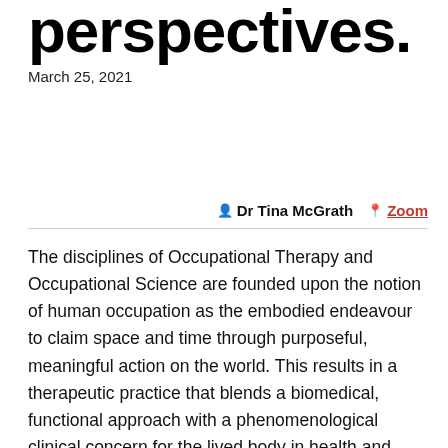perspectives.
March 25, 2021
Dr Tina McGrath  Zoom
The disciplines of Occupational Therapy and Occupational Science are founded upon the notion of human occupation as the embodied endeavour to claim space and time through purposeful, meaningful action on the world. This results in a therapeutic practice that blends a biomedical, functional approach with a phenomenological clinical concern for the lived body in health and illness.
An occupational perspective results in an orientation to the existential-phenomenological impact of disease and disability on the subjective realm of individuals. Through the proposed critical lens of breasted